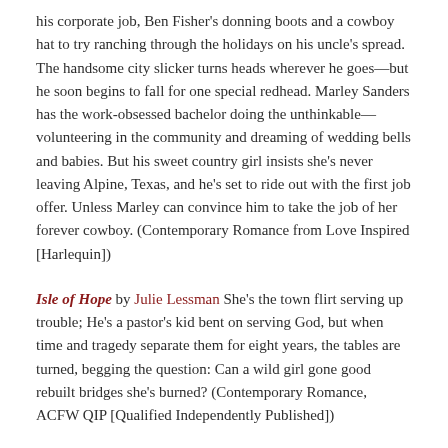his corporate job, Ben Fisher's donning boots and a cowboy hat to try ranching through the holidays on his uncle's spread. The handsome city slicker turns heads wherever he goes—but he soon begins to fall for one special redhead. Marley Sanders has the work-obsessed bachelor doing the unthinkable—volunteering in the community and dreaming of wedding bells and babies. But his sweet country girl insists she's never leaving Alpine, Texas, and he's set to ride out with the first job offer. Unless Marley can convince him to take the job of her forever cowboy. (Contemporary Romance from Love Inspired [Harlequin])
Isle of Hope by Julie Lessman She's the town flirt serving up trouble; He's a pastor's kid bent on serving God, but when time and tragedy separate them for eight years, the tables are turned, begging the question: Can a wild girl gone good rebuilt bridges she's burned? (Contemporary Romance, ACFW QIP [Qualified Independently Published])
Romance: